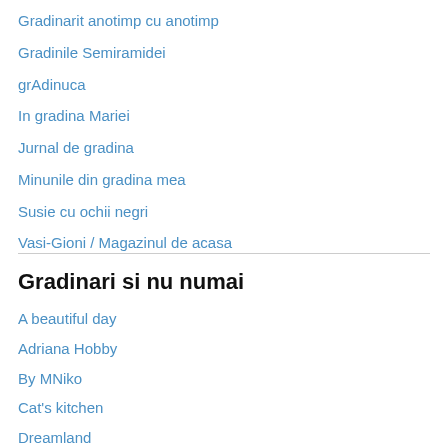Gradinarit anotimp cu anotimp
Gradinile Semiramidei
grAdinuca
In gradina Mariei
Jurnal de gradina
Minunile din gradina mea
Susie cu ochii negri
Vasi-Gioni / Magazinul de acasa
Gradinari si nu numai
A beautiful day
Adriana Hobby
By MNiko
Cat's kitchen
Dreamland
Hand made
Ierburi Uitate
Ingrid's Home Design